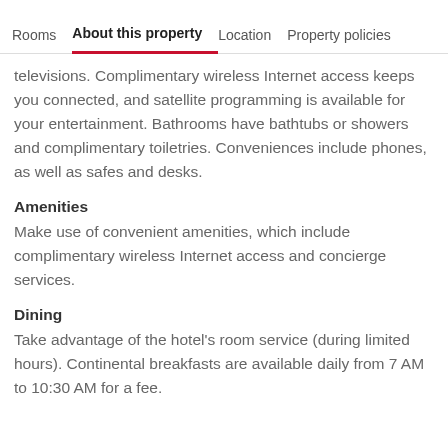Rooms | About this property | Location | Property policies
televisions. Complimentary wireless Internet access keeps you connected, and satellite programming is available for your entertainment. Bathrooms have bathtubs or showers and complimentary toiletries. Conveniences include phones, as well as safes and desks.
Amenities
Make use of convenient amenities, which include complimentary wireless Internet access and concierge services.
Dining
Take advantage of the hotel's room service (during limited hours). Continental breakfasts are available daily from 7 AM to 10:30 AM for a fee.